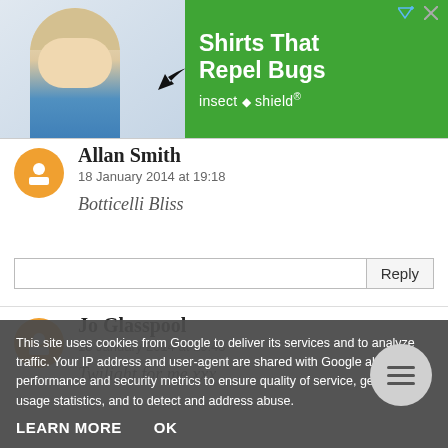[Figure (screenshot): Advertisement banner for Insect Shield: green background with woman in blue shirt pointing, text 'Shirts That Repel Bugs' and insect shield brand logo]
Allan Smith
18 January 2014 at 19:18
Botticelli Bliss
Jo Glasspool
18 January 2014 at 19:43
Twilight for me xxx
This site uses cookies from Google to deliver its services and to analyze traffic. Your IP address and user-agent are shared with Google along with performance and security metrics to ensure quality of service, generate usage statistics, and to detect and address abuse.
LEARN MORE
OK